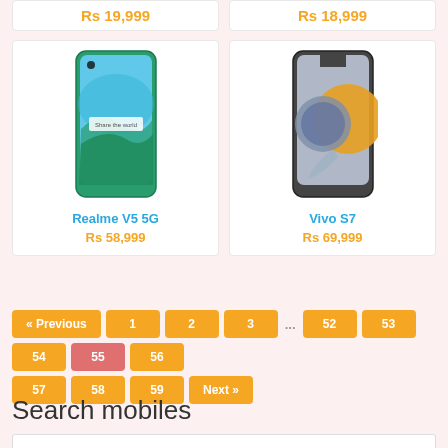Rs 19,999
Rs 18,999
[Figure (photo): Realme V5 5G smartphone product image]
Realme V5 5G
Rs 58,999
[Figure (photo): Vivo S7 smartphone product image]
Vivo S7
Rs 69,999
« Previous  1  2  3  ...  52  53  54  55  56  57  58  59  Next »
Search mobiles